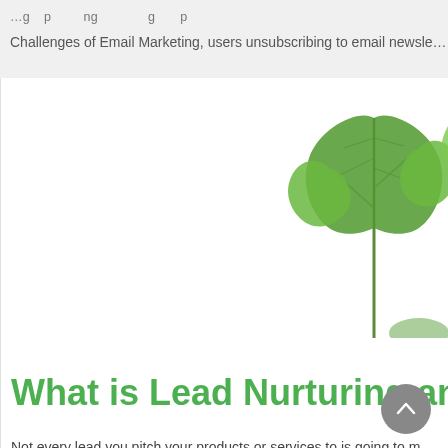Challenges of Email Marketing, users unsubscribing to email newsle…
[Figure (photo): Close-up photo of green herb leaves (parsley or similar) on a white background, positioned in the upper-right corner of the content area]
What is Lead Nurturing an…
Not every lead you pitch your products or services to is going to m… their credit card and submit their financial information. Here's whe…